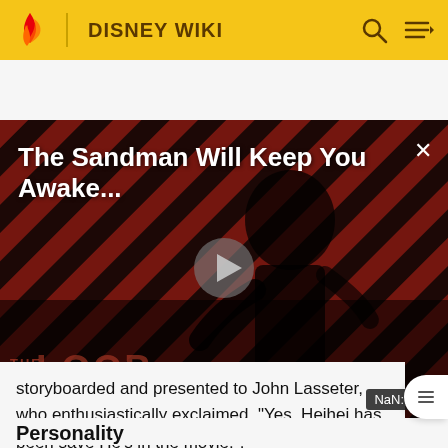DISNEY WIKI
[Figure (screenshot): Disney Wiki video player showing 'The Sandman Will Keep You Awake...' with a dark figure in diagonal red/black striped background, a play button in center, 'THE LOOP' branding at bottom left, and 'NaN:NaN' timestamp at bottom right]
storyboarded and presented to John Lasseter, who enthusiastically exclaimed, "Yes, Heihei has been save He's in the movie!".[3]
Personality